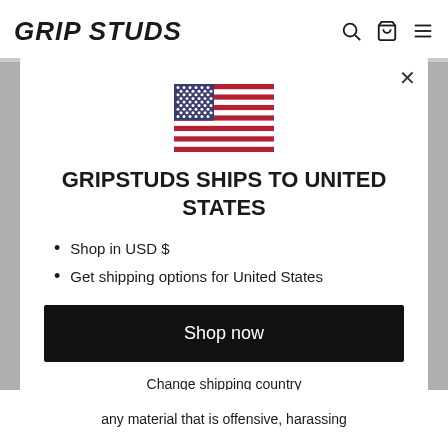GRIPSTUDS
[Figure (illustration): US flag emoji/illustration centered in modal]
GRIPSTUDS SHIPS TO UNITED STATES
Shop in USD $
Get shipping options for United States
Shop now
Change shipping country
any material that is offensive, harassing